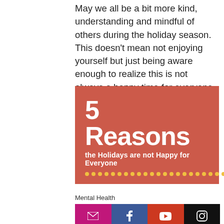May we all be a bit more kind, understanding and mindful of others during the holiday season. This doesn't mean not enjoying yourself but just being aware enough to realize this is not always a happy time for everyone.
[Figure (infographic): Salmon/red rectangle with white bold text reading '5 Reasons' and below it 'the Holidays are not Happy for Everyone', with a row of yellow/gold dots at the bottom.]
Mental Health
[Figure (infographic): Social media share bar with four colored buttons: magenta email icon, Facebook blue icon, YouTube red icon, and black Instagram icon.]